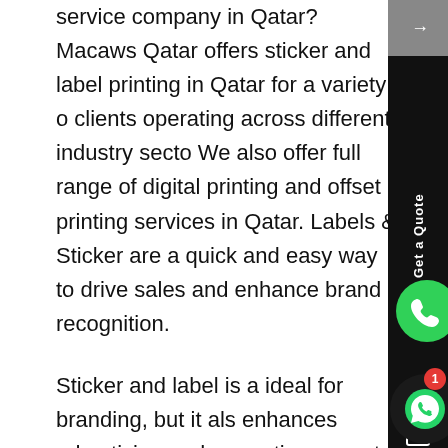service company in Qatar? Macaws Qatar offers sticker and label printing in Qatar for a variety of clients operating across different industry sectors. We also offer full range of digital printing and offset printing services in Qatar. Labels & Stickers are a quick and easy way to drive sales and enhance brand recognition.
Sticker and label is a ideal for branding, but it also enhances advertising and promotion aspects. We offer different kinds of Stickers and labels like Textured Labels, Roll Labels, and Promotional Stickers, etc.
Choose from round stickers, square stickers, K stickers, plastic stickers and rectangular stickers. And as if that isn't enough, and all are printed with